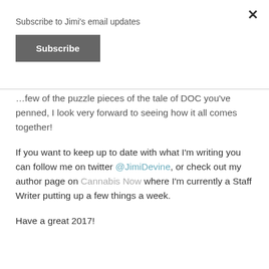Subscribe to Jimi's email updates
Subscribe
…few of the puzzle pieces of the tale of DOC you've penned, I look very forward to seeing how it all comes together!
If you want to keep up to date with what I'm writing you can follow me on twitter @JimiDevine, or check out my author page on Cannabis Now where I'm currently a Staff Writer putting up a few things a week.
Have a great 2017!